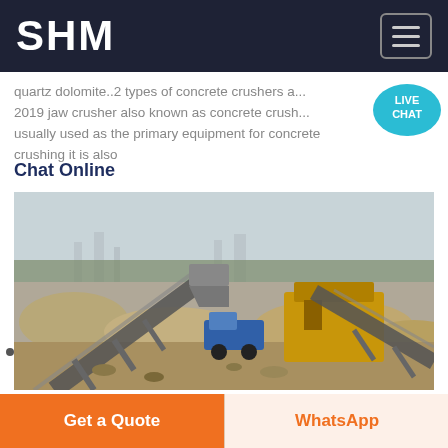SHM
quartz dolomite..2 types of concrete crushers a... 2019 jaw crusher also known as concrete crush... usually used as the primary equipment for concrete crushing it is also
Chat Online
[Figure (photo): Aerial view of a concrete crushing / quarrying industrial site with conveyor belts, heavy machinery, trucks, and large piles of gravel or sand outdoors.]
Get a Quote
WhatsApp